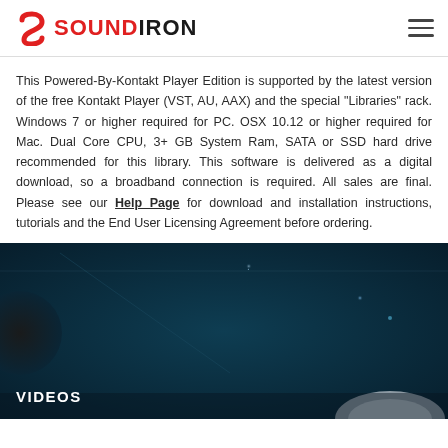SOUNDIRON
This Powered-By-Kontakt Player Edition is supported by the latest version of the free Kontakt Player (VST, AU, AAX) and the special "Libraries" rack. Windows 7 or higher required for PC. OSX 10.12 or higher required for Mac. Dual Core CPU, 3+ GB System Ram, SATA or SSD hard drive recommended for this library. This software is delivered as a digital download, so a broadband connection is required. All sales are final. Please see our Help Page for download and installation instructions, tutorials and the End User Licensing Agreement before ordering.
[Figure (photo): Dark teal/blue atmospheric background image, possibly a space or night sky scene with a bright star/light flare. Partial view of a metallic object at the bottom right.]
VIDEOS